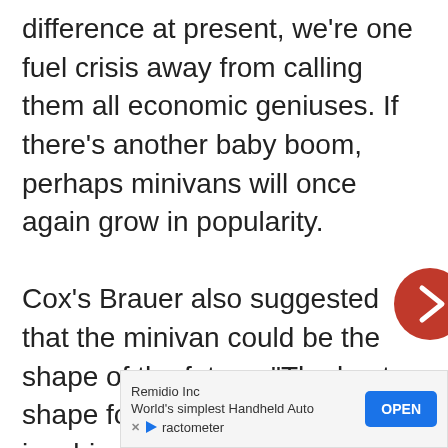difference at present, we're one fuel crisis away from calling them all economic geniuses. If there's another baby boom, perhaps minivans will once again grow in popularity.

Cox's Brauer also suggested that the minivan could be the shape of the future. “The best shape for moving people around is a big box,” he said. “It’s not the coolest or sportiest, but certainly is the most effective. We’re on the cusp of the minivan becoming a far more viable design for human transportation — just not for the personal buyer model.”
[Figure (other): Red circular navigation arrow button pointing right, positioned on the right edge of the page]
[Figure (other): Advertisement banner for Remidio Inc showing 'World's simplest Handheld Auto Fractometer' with an OPEN button]